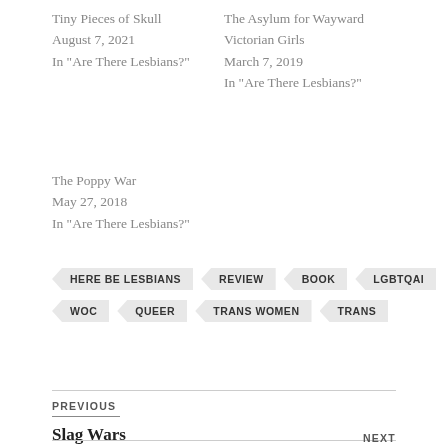Tiny Pieces of Skull
August 7, 2021
In "Are There Lesbians?"
The Asylum for Wayward Victorian Girls
March 7, 2019
In "Are There Lesbians?"
The Poppy War
May 27, 2018
In "Are There Lesbians?"
HERE BE LESBIANS
REVIEW
BOOK
LGBTQAI
WOC
QUEER
TRANS WOMEN
TRANS
PREVIOUS
Slag Wars
NEXT